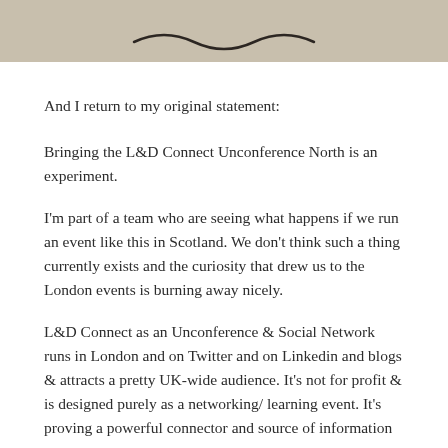[Figure (illustration): Partial view of a hand-drawn or sketched image on a beige/tan background, showing only the bottom portion with a curved squiggle line.]
And I return to my original statement:
Bringing the L&D Connect Unconference North is an experiment.
I'm part of a team who are seeing what happens if we run an event like this in Scotland. We don't think such a thing currently exists and the curiosity that drew us to the London events is burning away nicely.
L&D Connect as an Unconference & Social Network runs in London and on Twitter and on Linkedin and blogs & attracts a pretty UK-wide audience. It's not for profit & is designed purely as a networking/ learning event. It's proving a powerful connector and source of information